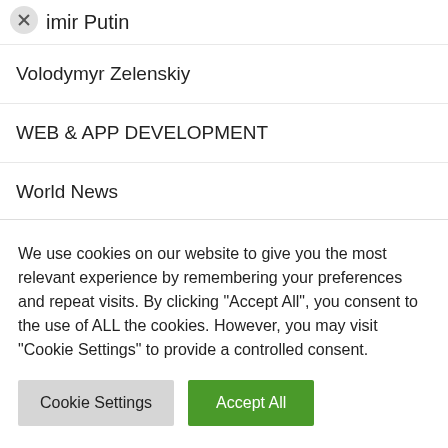imir Putin
Volodymyr Zelenskiy
WEB & APP DEVELOPMENT
World News
We use cookies on our website to give you the most relevant experience by remembering your preferences and repeat visits. By clicking "Accept All", you consent to the use of ALL the cookies. However, you may visit "Cookie Settings" to provide a controlled consent.
Cookie Settings
Accept All